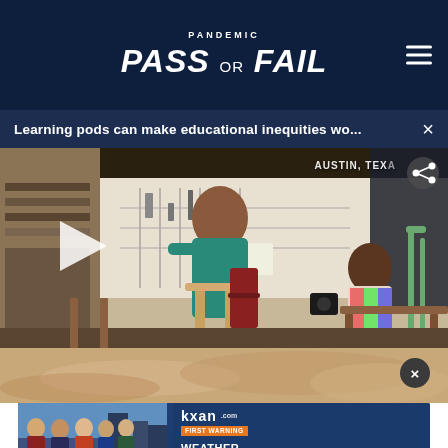PANDEMIC PASS or FAIL
Learning pods can make educational inequities wo...
[Figure (screenshot): Video screenshot of a classroom scene in Austin, Texas showing a teacher in teal top standing near a student seated at a desk with crutches nearby. A play button overlay is visible on the left side. Location tag reads AUSTIN, TEX and a share icon appears in top right.]
[Figure (photo): Close-up photo of hands, partially visible, forming the background of an advertisement overlay area. An X close button appears in the upper right.]
[Figure (screenshot): KXAN First Warning Weather advertisement banner showing news team members on the left side with text: BIGGEST AND MOST EXPERIENCED WEATHER TEAM IN CENTRAL TEXAS on a dark blue background.]